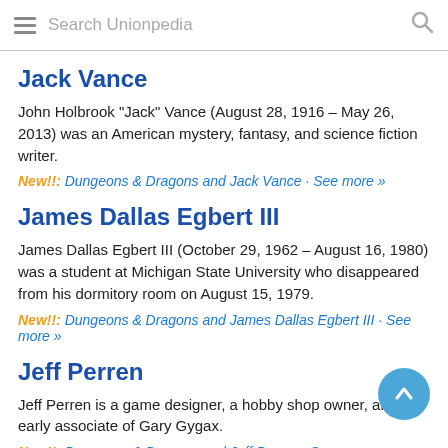Search Unionpedia
Jack Vance
John Holbrook "Jack" Vance (August 28, 1916 – May 26, 2013) was an American mystery, fantasy, and science fiction writer.
New!!: Dungeons & Dragons and Jack Vance · See more »
James Dallas Egbert III
James Dallas Egbert III (October 29, 1962 – August 16, 1980) was a student at Michigan State University who disappeared from his dormitory room on August 15, 1979.
New!!: Dungeons & Dragons and James Dallas Egbert III · See more »
Jeff Perren
Jeff Perren is a game designer, a hobby shop owner, and an early associate of Gary Gygax.
New!!: Dungeons & Dragons and Jeff Perren · See more »